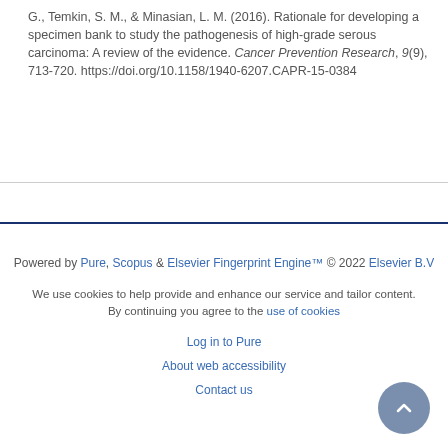G., Temkin, S. M., & Minasian, L. M. (2016). Rationale for developing a specimen bank to study the pathogenesis of high-grade serous carcinoma: A review of the evidence. Cancer Prevention Research, 9(9), 713-720. https://doi.org/10.1158/1940-6207.CAPR-15-0384
Powered by Pure, Scopus & Elsevier Fingerprint Engine™ © 2022 Elsevier B.V
We use cookies to help provide and enhance our service and tailor content. By continuing you agree to the use of cookies
Log in to Pure
About web accessibility
Contact us